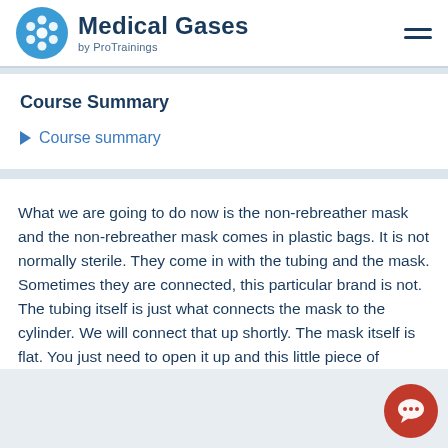Medical Gases by ProTrainings
Course Summary
Course summary
What we are going to do now is the non-rebreather mask and the non-rebreather mask comes in plastic bags. It is not normally sterile. They come in with the tubing and the mask. Sometimes they are connected, this particular brand is not. The tubing itself is just what connects the mask to the cylinder. We will connect that up shortly. The mask itself is flat. You just need to open it up and this little piece of